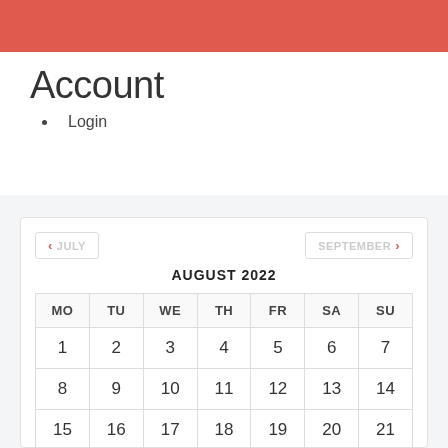[Figure (photo): Red/coral colored banner image at the top of the page]
Account
Login
| MO | TU | WE | TH | FR | SA | SU |
| --- | --- | --- | --- | --- | --- | --- |
| 1 | 2 | 3 | 4 | 5 | 6 | 7 |
| 8 | 9 | 10 | 11 | 12 | 13 | 14 |
| 15 | 16 | 17 | 18 | 19 | 20 | 21 |